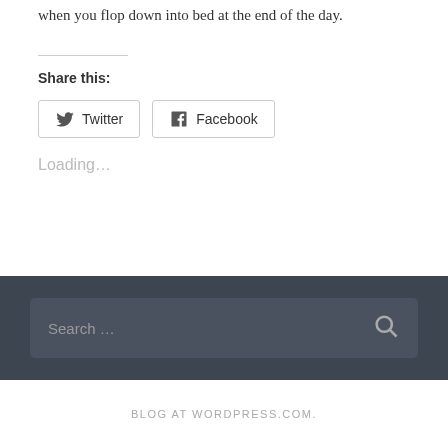when you flop down into bed at the end of the day.
Share this:
[Figure (screenshot): Share buttons for Twitter and Facebook with bordered rectangular button styling]
Loading...
[Figure (screenshot): Dark footer area with a search input box containing placeholder text 'Search ...' and a search icon on the right]
BLOG AT WORDPRESS.COM.